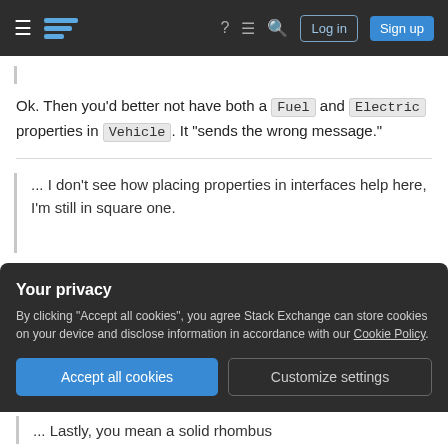Stack Exchange navigation bar with hamburger menu, logo, help, chat, search icons, Log in and Sign up buttons
Ok. Then you'd better not have both a Fuel and Electric properties in Vehicle. It "sends the wrong message."
... I don't see how placing properties in interfaces help here, I'm still in square one.
Throughout the StackExchange universe I see the
Your privacy
By clicking "Accept all cookies", you agree Stack Exchange can store cookies on your device and disclose information in accordance with our Cookie Policy.
[Accept all cookies] [Customize settings]
... Lastly, you mean a solid rhombus